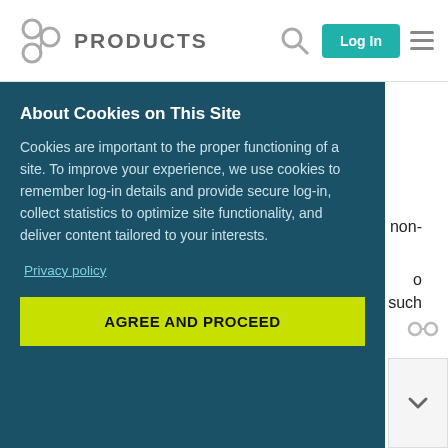PRODUCTS | Log In
and about 50 000 transactions).
Same time we have production dedicated server on Windows server 2008 (and 96 gb RAM).
n non-
o
nd such
About Cookies on This Site
Cookies are important to the proper functioning of a site. To improve your experience, we use cookies to remember log-in details and provide secure log-in, collect statistics to optimize site functionality, and deliver content tailored to your interests.
Privacy policy
AGREE AND PROCEED